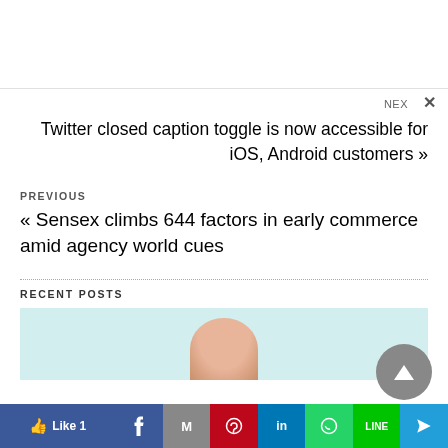NEX ×
Twitter closed caption toggle is now accessible for iOS, Android customers »
PREVIOUS
« Sensex climbs 644 factors in early commerce amid agency world cues
RECENT POSTS
[Figure (photo): Partial image of a person's head/face, shown from bottom of frame, on a light teal background]
[Figure (other): Gray circular scroll-to-top button with upward triangle arrow]